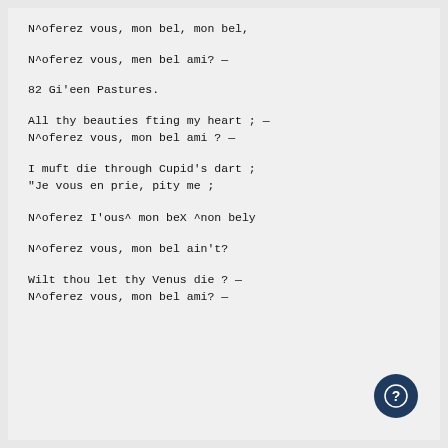N^oferez vous, mon bel, mon bel,
N^oferez vous, men bel ami? —
82 Gi'een Pastures.
All thy beauties fting my heart ; —
N^oferez vous, mon bel ami ? —
I muft die through Cupid's dart ;
"Je vous en prie, pity me ;
N^oferez I'ous^ mon beX ^non bely
N^oferez vous, mon bel ain't?
Wilt thou let thy Venus die ? —
N^oferez vous, mon bel ami? —